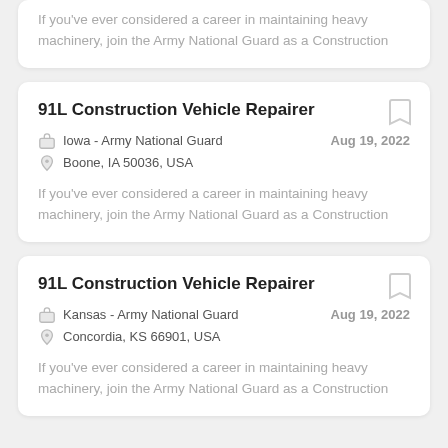If you've ever considered a career in maintaining heavy machinery, join the Army National Guard as a Construction
91L Construction Vehicle Repairer
Iowa - Army National Guard
Aug 19, 2022
Boone, IA 50036, USA
If you've ever considered a career in maintaining heavy machinery, join the Army National Guard as a Construction
91L Construction Vehicle Repairer
Kansas - Army National Guard
Aug 19, 2022
Concordia, KS 66901, USA
If you've ever considered a career in maintaining heavy machinery, join the Army National Guard as a Construction